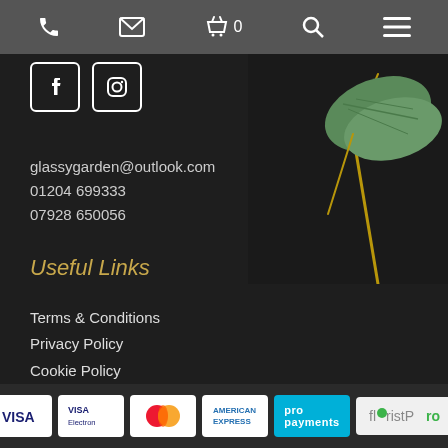Navigation bar with phone, email, basket (0), search, and menu icons
[Figure (other): Facebook and Instagram social media icons (white on dark, square border)]
[Figure (photo): Decorative plant with green leaf and stem on dark background, top-right corner]
glassygarden@outlook.com
01204 699333
07928 650056
Useful Links
Terms & Conditions
Privacy Policy
Cookie Policy
Login
[Figure (other): Payment method badges: VISA, VISA Electron, Mastercard, American Express, Pro Payments (cyan), FloristPro logo]